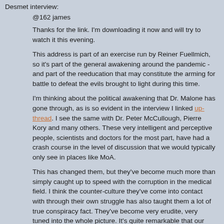Desmet interview:
@162 james
Thanks for the link. I'm downloading it now and will try to watch it this evening.
This address is part of an exercise run by Reiner Fuellmich, so it's part of the general awakening around the pandemic - and part of the reeducation that may constitute the arming for battle to defeat the evils brought to light during this time.
I'm thinking about the political awakening that Dr. Malone has gone through, as is so evident in the interview I linked up-thread. I see the same with Dr. Peter McCullough, Pierre Kory and many others. These very intelligent and perceptive people, scientists and doctors for the most part, have had a crash course in the level of discussion that we would typically only see in places like MoA.
This has changed them, but they've become much more than simply caught up to speed with the corruption in the medical field. I think the counter-culture they've come into contact with through their own struggle has also taught them a lot of true conspiracy fact. They've become very erudite, very tuned into the whole picture. It's quite remarkable that our great doctors are also turning into our great activists.